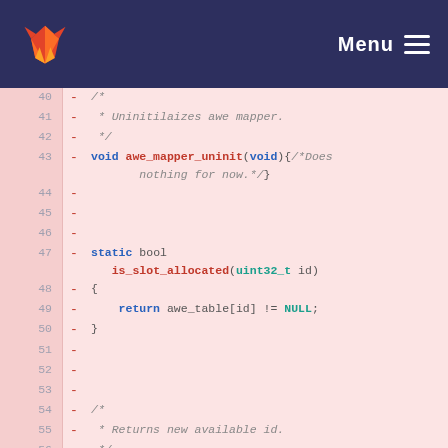[Figure (screenshot): GitLab navigation bar with fox logo on left and Menu hamburger button on right, dark navy background]
Code diff view showing lines 40-57 of a C source file with deleted lines (marked with -). Lines include: comment block for Uninitilaizes awe mapper, void awe_mapper_uninit function, static bool is_slot_allocated function, and start of uint32_t awe_mapper_create_id declaration.